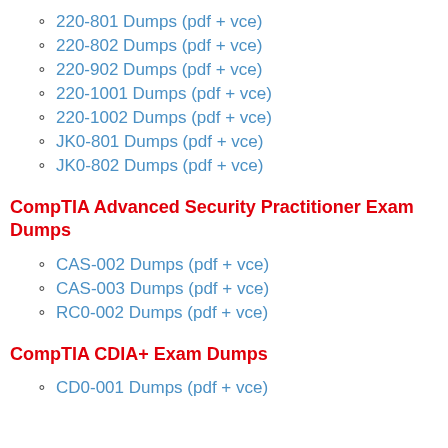220-801 Dumps (pdf + vce)
220-802 Dumps (pdf + vce)
220-902 Dumps (pdf + vce)
220-1001 Dumps (pdf + vce)
220-1002 Dumps (pdf + vce)
JK0-801 Dumps (pdf + vce)
JK0-802 Dumps (pdf + vce)
CompTIA Advanced Security Practitioner Exam Dumps
CAS-002 Dumps (pdf + vce)
CAS-003 Dumps (pdf + vce)
RC0-002 Dumps (pdf + vce)
CompTIA CDIA+ Exam Dumps
CD0-001 Dumps (pdf + vce)